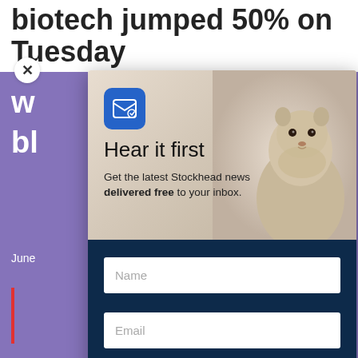biotech jumped 50% on Tuesday
w
bl
June
[Figure (screenshot): Email newsletter signup modal overlay on Stockhead article page. Modal contains an email icon, 'Hear it first' heading, subtitle text, name field, email field, and SIGN ME UP button. Background shows article headline about biotech jumping 50% on Tuesday in purple/white layout.]
Hear it first
Get the latest Stockhead news delivered free to your inbox.
Name
Email
SIGN ME UP